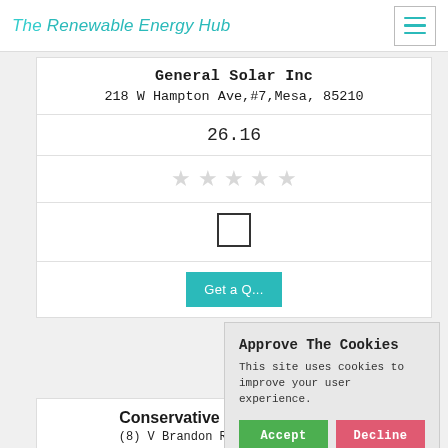The Renewable Energy Hub
General Solar Inc
218 W Hampton Ave,#7,Mesa, 85210
26.16
[Figure (other): Five empty star rating icons (all unselected/grey)]
[Figure (other): Unchecked checkbox UI element]
Get a Q...
Approve The Cookies
This site uses cookies to improve your user experience.
Accept  Decline
Cookie policy
Conservative Energy Systems
(8) V Brandon Rd #113 M... 85210